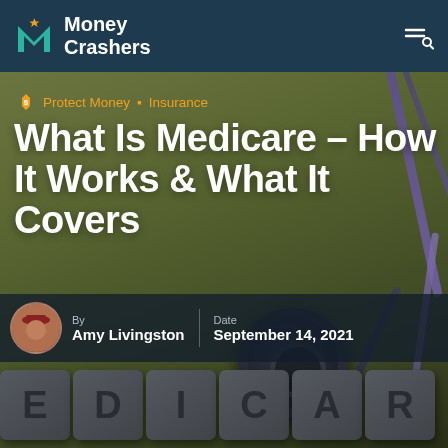Money Crashers
[Figure (photo): Hero image showing a stethoscope on an olive/khaki green background with scrabble-like tiles spelling EDICAR (part of MEDICARE)]
Protect Money • Insurance
What Is Medicare – How It Works & What It Covers
By Amy Livingston | Date September 14, 2021